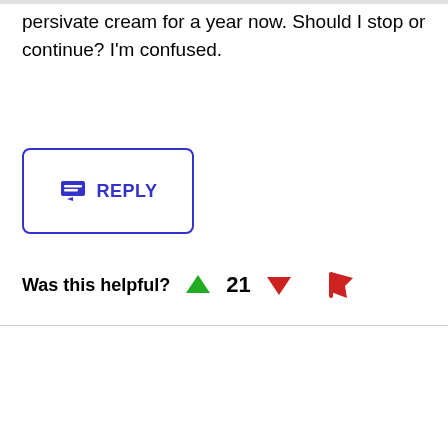persivate cream for a year now. Should I stop or continue? I'm confused.
REPLY
Was this helpful? 21